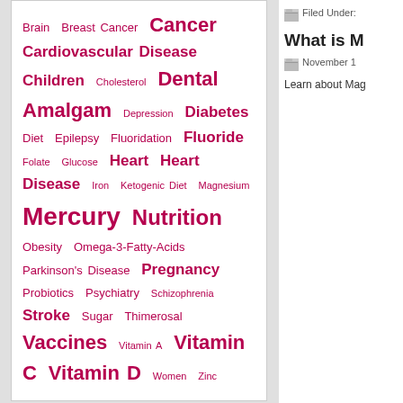[Figure (infographic): Tag cloud of medical topics in crimson/pink text of varying sizes, including: Brain, Breast Cancer, Cancer, Cardiovascular Disease, Children, Cholesterol, Dental Amalgam, Depression, Diabetes, Diet, Epilepsy, Fluoridation, Fluoride, Folate, Glucose, Heart, Heart Disease, Iron, Ketogenic Diet, Magnesium, Mercury, Nutrition, Obesity, Omega-3-Fatty-Acids, Parkinson's Disease, Pregnancy, Probiotics, Psychiatry, Schizophrenia, Stroke, Sugar, Thimerosal, Vaccines, Vitamin A, Vitamin C, Vitamin D, Women, Zinc]
Filed Under:
What is M
November 1
Learn about Mag